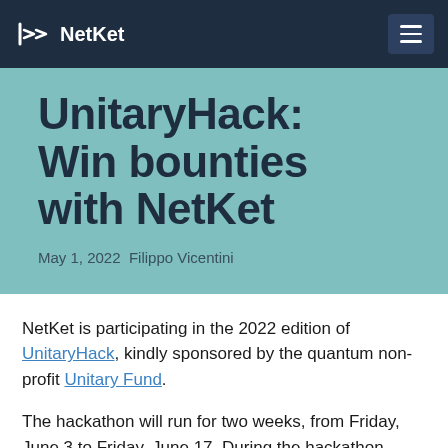NetKit
UnitaryHack: Win bounties with NetKet
May 1, 2022 Filippo Vicentini
NetKet is participating in the 2022 edition of UnitaryHack, kindly sponsored by the quantum non-profit Unitary Fund.
The hackathon will run for two weeks, from Friday, June 3 to Friday, June 17. During the hackathon, several high-profile